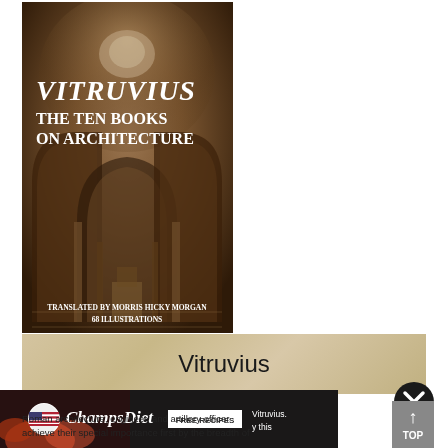[Figure (illustration): Book cover of 'Vitruvius: The Ten Books on Architecture', translated by Morris Hicky Morgan, 68 Illustrations. Dark sepia-toned cover featuring a classical Roman interior with arches and dome, white serif title text overlaid.]
Vitruvius
[Figure (screenshot): ChampsDiet advertisement banner with flag icon, cursive logo, FREE RECIPES button, and partial text about Vitruvius as Roman architecture engineer and artillery officer.]
Roman architecture, engineer, and artillery officer achieve their special importance first by the breadth of
[Figure (other): Close (X) button circle overlay in dark gray/black]
[Figure (other): TOP navigation button in gray with upward arrow]